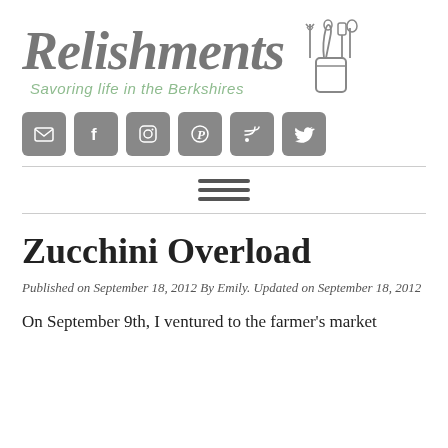[Figure (logo): Relishments blog logo with script text and kitchen utensils illustration. Tagline: Savoring life in the Berkshires]
[Figure (other): Row of 6 social media icon buttons (email, Facebook, Instagram, Pinterest, RSS, Twitter) in grey rounded square buttons]
[Figure (other): Hamburger menu icon (three horizontal lines)]
Zucchini Overload
Published on September 18, 2012 By Emily. Updated on September 18, 2012
On September 9th, I ventured to the farmer's market